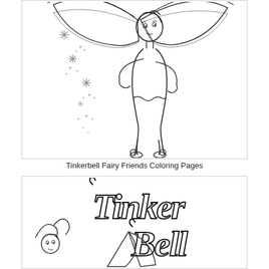[Figure (illustration): Black and white line drawing coloring page of Tinkerbell fairy standing with hands on hips, wings spread, with sparkle dust trailing to the left side]
Tinkerbell Fairy Friends Coloring Pages
[Figure (illustration): Black and white coloring page showing decorative 'Tinker Bell' text in stylized curly font with a partial illustration of Tinkerbell at the bottom left]